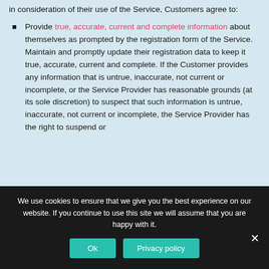in consideration of their use of the Service, Customers agree to:
Provide true, accurate, current and complete information about themselves as prompted by the registration form of the Service. Maintain and promptly update their registration data to keep it true, accurate, current and complete. If the Customer provides any information that is untrue, inaccurate, not current or incomplete, or the Service Provider has reasonable grounds (at its sole discretion) to suspect that such information is untrue, inaccurate, not current or incomplete, the Service Provider has the right to suspend or
We use cookies to ensure that we give you the best experience on our website. If you continue to use this site we will assume that you are happy with it.
Ok
Privacy policy